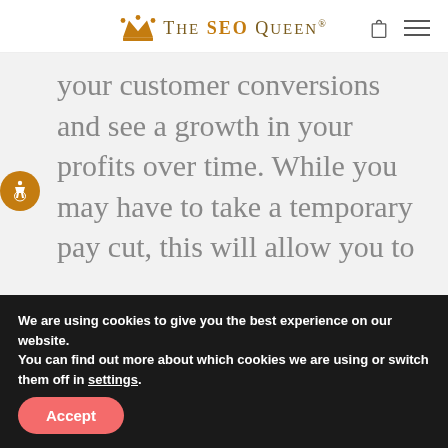The SEO Queen®
your customer conversions and see a growth in your profits over time. While you may have to take a temporary pay cut, this will allow you to
We are using cookies to give you the best experience on our website.
You can find out more about which cookies we are using or switch them off in settings.
Accept